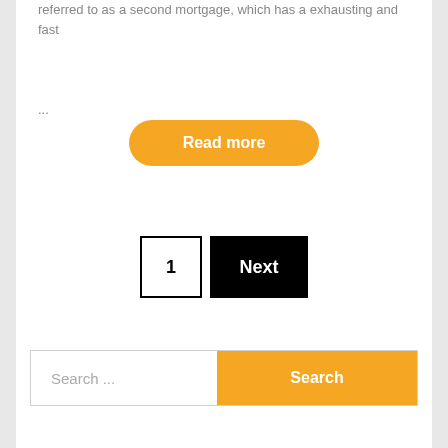referred to as a second mortgage, which has a exhausting and fast
...
Read more
1
Next
Search ...
Search